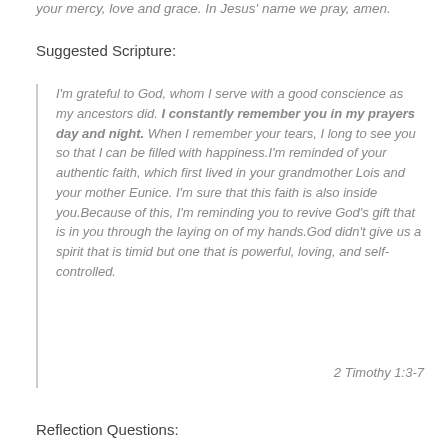your mercy, love and grace. In Jesus' name we pray, amen.
Suggested Scripture:
I'm grateful to God, whom I serve with a good conscience as my ancestors did. I constantly remember you in my prayers day and night. When I remember your tears, I long to see you so that I can be filled with happiness.I'm reminded of your authentic faith, which first lived in your grandmother Lois and your mother Eunice. I'm sure that this faith is also inside you.Because of this, I'm reminding you to revive God's gift that is in you through the laying on of my hands.God didn't give us a spirit that is timid but one that is powerful, loving, and self-controlled.
2 Timothy 1:3-7
Reflection Questions: